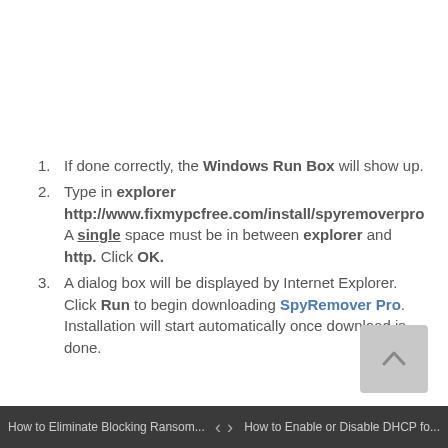If done correctly, the Windows Run Box will show up.
Type in explorer http://www.fixmypcfree.com/install/spyremoverpro A single space must be in between explorer and http. Click OK.
A dialog box will be displayed by Internet Explorer. Click Run to begin downloading SpyRemover Pro. Installation will start automatically once download is done.
How to Eliminate Blocking Ransom... < > How to Enable or Disable DHCP fo...